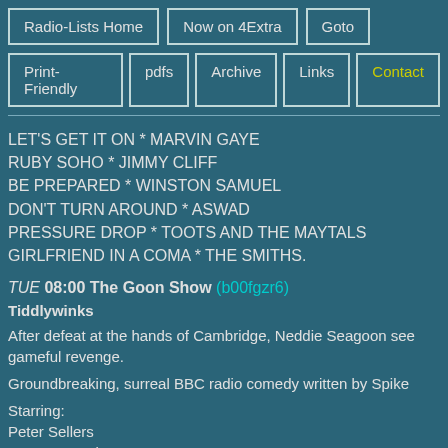Radio-Lists Home | Now on 4Extra | Goto | Print-Friendly | pdfs | Archive | Links | Contact
LET'S GET IT ON * MARVIN GAYE
RUBY SOHO * JIMMY CLIFF
BE PREPARED * WINSTON SAMUEL
DON'T TURN AROUND * ASWAD
PRESSURE DROP * TOOTS AND THE MAYTALS
GIRLFRIEND IN A COMA * THE SMITHS.
TUE 08:00 The Goon Show (b00fgzr6)
Tiddlywinks
After defeat at the hands of Cambridge, Neddie Seagoon seeks gameful revenge.
Groundbreaking, surreal BBC radio comedy written by Spike
Starring:
Peter Sellers
Harry Secombe